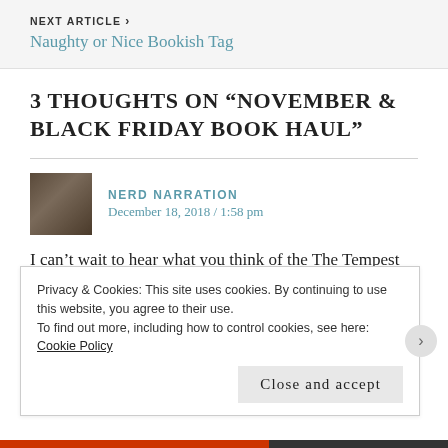NEXT ARTICLE > Naughty or Nice Bookish Tag
3 THOUGHTS ON “NOVEMBER & BLACK FRIDAY BOOK HAUL”
NERD NARRATION
December 18, 2018 / 1:58 pm
I can’t wait to hear what you think of the The Tempest retelling. I’ve never heard of it until your post so I’m very
Privacy & Cookies: This site uses cookies. By continuing to use this website, you agree to their use.
To find out more, including how to control cookies, see here:
Cookie Policy
Close and accept